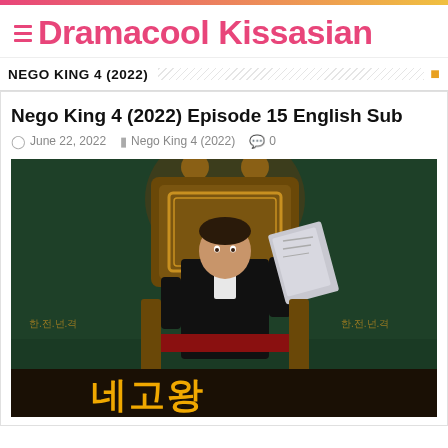Dramacool Kissasian
NEGO KING 4 (2022)
Nego King 4 (2022) Episode 15 English Sub
June 22, 2022  Nego King 4 (2022)  0
[Figure (photo): Drama poster for Nego King 4 (2022) showing a man in a black tuxedo sitting on an ornate golden throne, holding up a document, with Korean text at the bottom reading 네고왕]